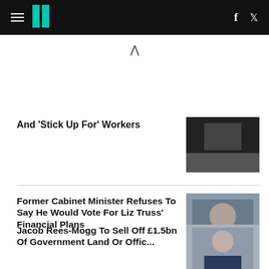HuffPost UK
And 'Stick Up For' Workers
[Figure (photo): Photo of person related to 'Stick Up For Workers' article]
Former Cabinet Minister Refuses To Say He Would Vote For Liz Truss' Financial Plans
[Figure (photo): Photo of a man in a blue suit and red tie carrying a red folder]
Jacob Rees-Mogg To Sell Off £1.5bn Of Government Land Or Offices
[Figure (photo): Photo of Jacob Rees-Mogg smiling]